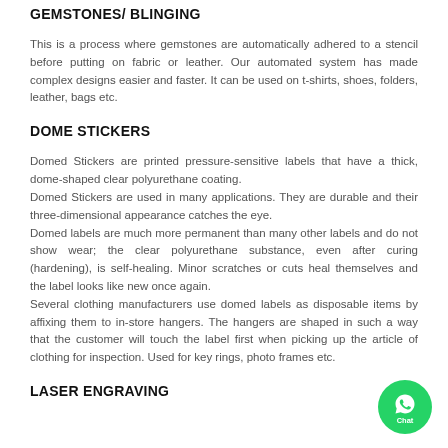GEMSTONES/ BLINGING
This is a process where gemstones are automatically adhered to a stencil before putting on fabric or leather. Our automated system has made complex designs easier and faster. It can be used on t-shirts, shoes, folders, leather, bags etc.
DOME STICKERS
Domed Stickers are printed pressure-sensitive labels that have a thick, dome-shaped clear polyurethane coating.
Domed Stickers are used in many applications. They are durable and their three-dimensional appearance catches the eye.
Domed labels are much more permanent than many other labels and do not show wear; the clear polyurethane substance, even after curing (hardening), is self-healing. Minor scratches or cuts heal themselves and the label looks like new once again.
Several clothing manufacturers use domed labels as disposable items by affixing them to in-store hangers. The hangers are shaped in such a way that the customer will touch the label first when picking up the article of clothing for inspection. Used for key rings, photo frames etc.
LASER ENGRAVING